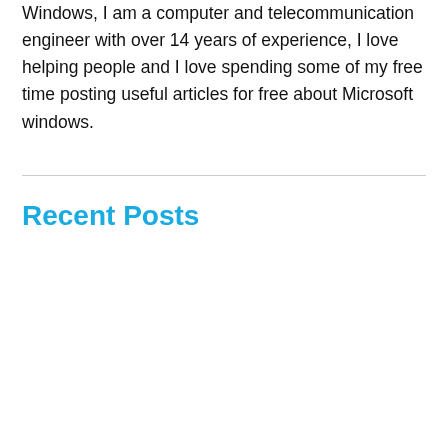Windows, I am a computer and telecommunication engineer with over 14 years of experience, I love helping people and I love spending some of my free time posting useful articles for free about Microsoft windows.
Recent Posts